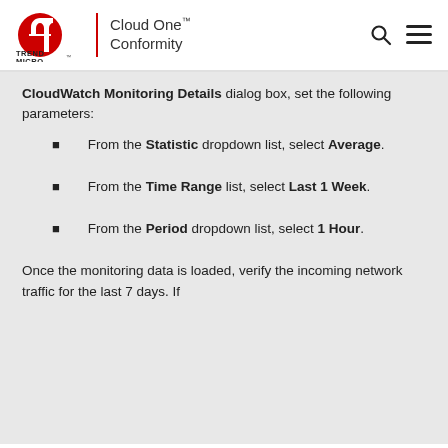Trend Micro | Cloud One™ Conformity
CloudWatch Monitoring Details dialog box, set the following parameters:
From the Statistic dropdown list, select Average.
From the Time Range list, select Last 1 Week.
From the Period dropdown list, select 1 Hour.
Once the monitoring data is loaded, verify the incoming network traffic for the last 7 days. If